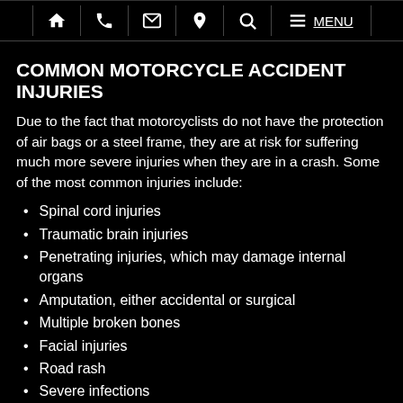Navigation bar with home, phone, email, location, search, menu icons and MENU text
COMMON MOTORCYCLE ACCIDENT INJURIES
Due to the fact that motorcyclists do not have the protection of air bags or a steel frame, they are at risk for suffering much more severe injuries when they are in a crash. Some of the most common injuries include:
Spinal cord injuries
Traumatic brain injuries
Penetrating injuries, which may damage internal organs
Amputation, either accidental or surgical
Multiple broken bones
Facial injuries
Road rash
Severe infections